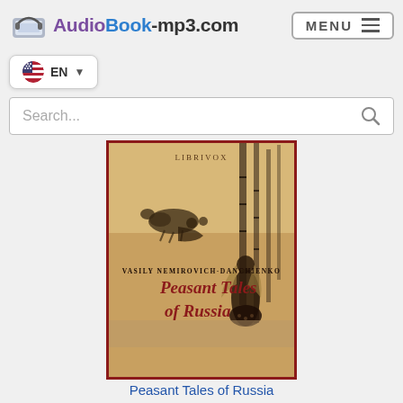AudioBook-mp3.com MENU
EN
Search...
[Figure (illustration): Book cover for 'Peasant Tales of Russia' by Vasily Nemirovich-Danchienko. LibriVox label at top. Vintage illustration showing a woman in winter clothing with a horse-drawn sleigh scene on a golden/sepia background with birch trees.]
Peasant Tales of Russia